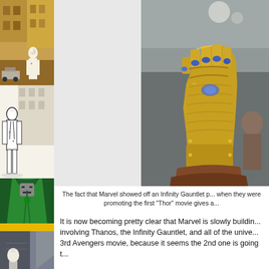[Figure (illustration): Left column showing four Marvel comic character panels stacked vertically: top panel with warm brown/gold tones showing a building background, second panel with a white-suited figure in black-and-white comic style, third panel showing Doctor Doom in green cloak, fourth panel showing a grey/dark architectural fragment with a white-faced figure]
[Figure (photo): Photo of the Marvel Infinity Gauntlet prop/replica - a large golden metallic gauntlet with blue gem stones on the fingers, displayed on a stand, with a person visible in the background. The gauntlet is ornate and highly detailed in gold/brass coloring.]
The fact that Marvel showed off an Infinity Gauntlet p... when they were promoting the first "Thor" movie gives a...
It is now becoming pretty clear that Marvel is slowly buildin... involving Thanos, the Infinity Gauntlet, and all of the unive... 3rd Avengers movie, because it seems the 2nd one is going t...